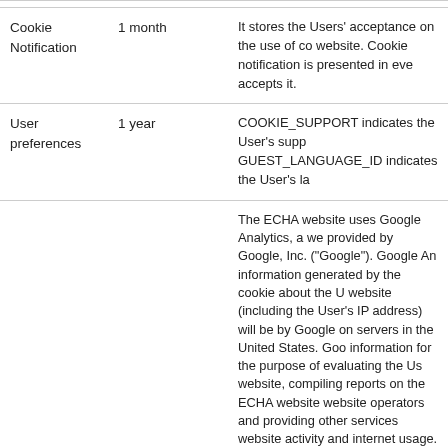| Cookie Name | Duration | Description |
| --- | --- | --- |
| Cookie Notification | 1 month | It stores the Users' acceptance on the use of cookies on the website. Cookie notification is presented in every page until user accepts it. |
| User preferences | 1 year | COOKIE_SUPPORT indicates the User's support for cookies. GUEST_LANGUAGE_ID indicates the User's language. |
| Google Analytics cookies | 2 years (to distinguish users and sessions) 10 minutes (to throttle | The ECHA website uses Google Analytics, a web analytics service provided by Google, Inc. ("Google"). Google Analytics uses cookies, information generated by the cookie about the User's use of the website (including the User's IP address) will be transmitted to and stored by Google on servers in the United States. Google will use this information for the purpose of evaluating the User's use of the ECHA website, compiling reports on the ECHA website activity for website operators and providing other services relating to website activity and internet usage. Google may also transfer this information to third parties where required to do so by law, or where such third parties process the information on Google's behalf. Google will not associate the User's IP address with any other data held by Google. User may refuse the use of cookies by selecting |